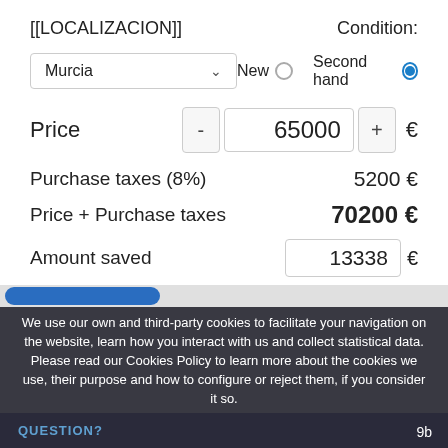[[LOCALIZACION]]
Condition:
Murcia
New
Second hand
Price
65000
€
Purchase taxes (8%)
5200 €
Price + Purchase taxes
70200 €
Amount saved
13338 €
We use our own and third-party cookies to facilitate your navigation on the website, learn how you interact with us and collect statistical data. Please read our Cookies Policy to learn more about the cookies we use, their purpose and how to configure or reject them, if you consider it so.
Accept all
Manage Cookies
Reject
QUESTION?